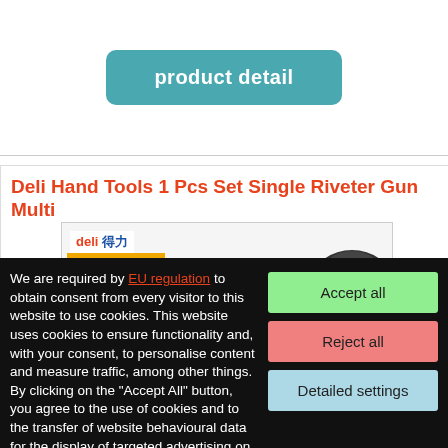product detail
Deli Hand Tools 1 Pcs Set Single Riveter Gun Multi
[Figure (photo): Product image of a Deli brand riveter gun with yellow handle and black grip, alongside drill bits on a yellow card showing specifications]
We are required by EU regulation to obtain consent from every visitor to this website to use cookies. This website uses cookies to ensure functionality and, with your consent, to personalise content and measure traffic, among other things. By clicking on the "Accept All" button, you agree to the use of cookies and to the transfer of website behavioural data for the display of targeted advertising on social networks, advertising networks on other sites.
Accept all
Reject all
Detailed settings